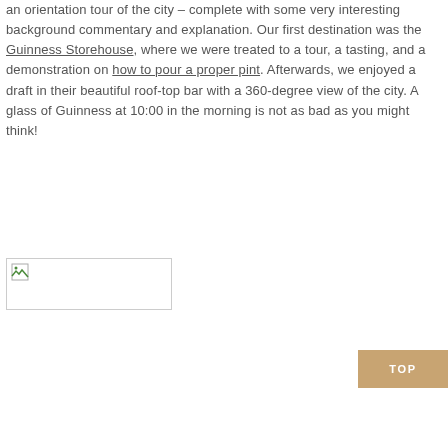an orientation tour of the city – complete with some very interesting background commentary and explanation. Our first destination was the Guinness Storehouse, where we were treated to a tour, a tasting, and a demonstration on how to pour a proper pint. Afterwards, we enjoyed a draft in their beautiful roof-top bar with a 360-degree view of the city. A glass of Guinness at 10:00 in the morning is not as bad as you might think!
[Figure (photo): Broken image placeholder icon]